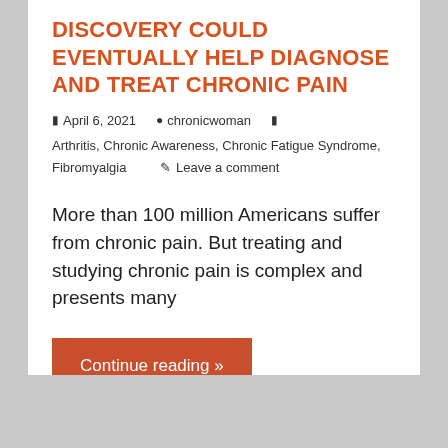DISCOVERY COULD EVENTUALLY HELP DIAGNOSE AND TREAT CHRONIC PAIN
April 6, 2021  chronicwoman  Arthritis, Chronic Awareness, Chronic Fatigue Syndrome, Fibromyalgia  Leave a comment
More than 100 million Americans suffer from chronic pain. But treating and studying chronic pain is complex and presents many
Continue reading »